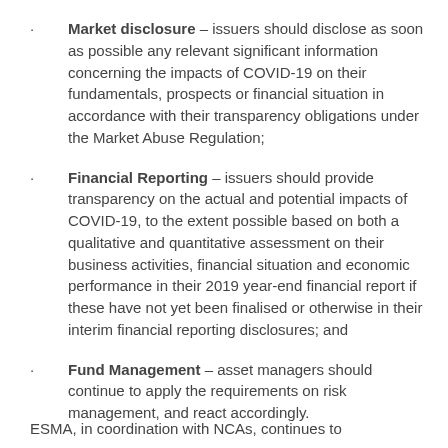Market disclosure – issuers should disclose as soon as possible any relevant significant information concerning the impacts of COVID-19 on their fundamentals, prospects or financial situation in accordance with their transparency obligations under the Market Abuse Regulation;
Financial Reporting – issuers should provide transparency on the actual and potential impacts of COVID-19, to the extent possible based on both a qualitative and quantitative assessment on their business activities, financial situation and economic performance in their 2019 year-end financial report if these have not yet been finalised or otherwise in their interim financial reporting disclosures; and
Fund Management – asset managers should continue to apply the requirements on risk management, and react accordingly.
ESMA, in coordination with NCAs, continues to